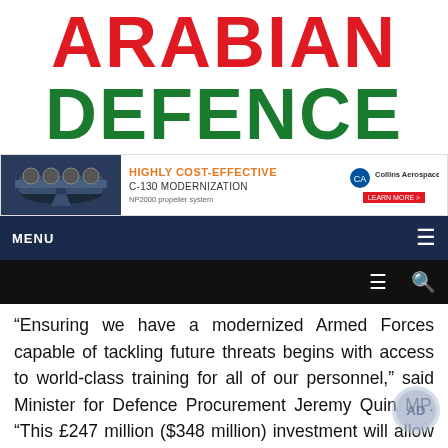ARABIAN DEFENCE
[Figure (illustration): Collins Aerospace advertisement banner featuring a C-130 aircraft image on left, with text 'HIGHLY COST-EFFECTIVE C-130 MODERNIZATION NP2000 propeller system' and Collins Aerospace logo and 'LEARN MORE' button on right.]
MENU
“Ensuring we have a modernized Armed Forces capable of tackling future threats begins with access to world-class training for all of our personnel,” said Minister for Defence Procurement Jeremy Quin MP. “This £247 million ($348 million) investment will allow our air crews to operate this aircraft to its highest capability and maintain critical defence outputs and will extend our use of modern synthetic training techniques.”